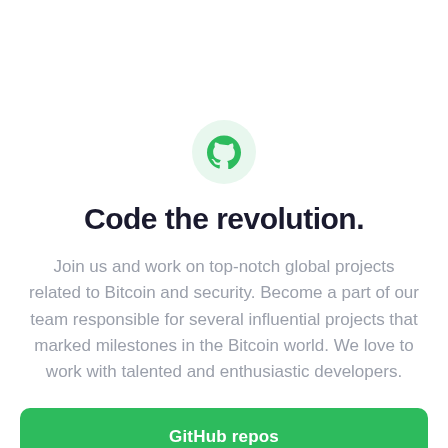[Figure (logo): GitHub octocat logo icon in green inside a light green circle]
Code the revolution.
Join us and work on top-notch global projects related to Bitcoin and security. Become a part of our team responsible for several influential projects that marked milestones in the Bitcoin world. We love to work with talented and enthusiastic developers.
GitHub repos
Dev Community chat